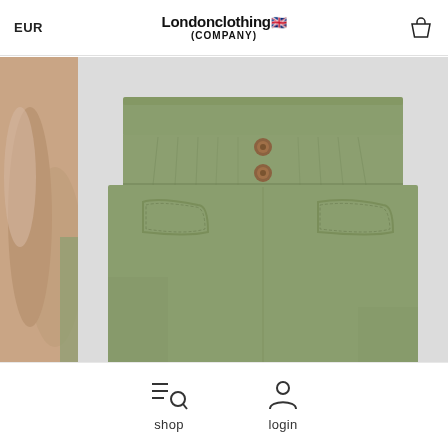EUR | Londonclothing (COMPANY)
[Figure (photo): E-commerce product page showing a khaki/olive green mini skirt with paperbag waist, two copper buttons, and front pockets. Partial model image on left side. London Clothing Company website screenshot.]
shop | login